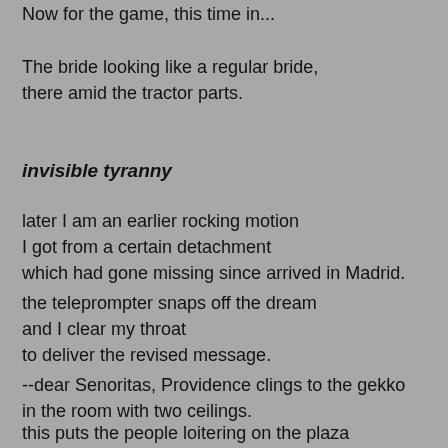Now for the game, this time in...
The bride looking like a regular bride,
there amid the tractor parts.
invisible tyranny
later I am an earlier rocking motion
I got from a certain detachment
which had gone missing since arrived in Madrid.
the teleprompter snaps off the dream
and I clear my throat
to deliver the revised message.
--dear Senoritas, Providence clings to the gekko
in the room with two ceilings.
this puts the people loitering on the plaza
in the mood to kick each other in the shins.